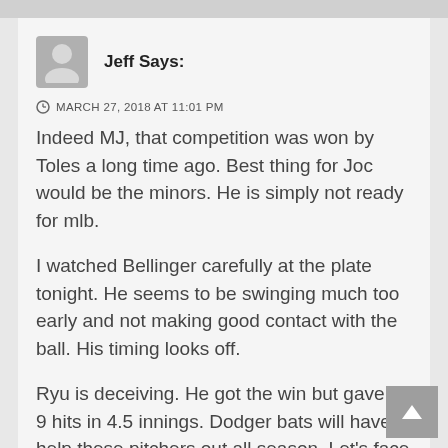Jeff Says:
MARCH 27, 2018 AT 11:01 PM
Indeed MJ, that competition was won by Toles a long time ago. Best thing for Joc would be the minors. He is simply not ready for mlb.
I watched Bellinger carefully at the plate tonight. He seems to be swinging much too early and not making good contact with the ball. His timing looks off.
Ryu is deceiving. He got the win but gave up 9 hits in 4.5 innings. Dodger bats will have to help these pitchers out all season. Let's face it, we don't